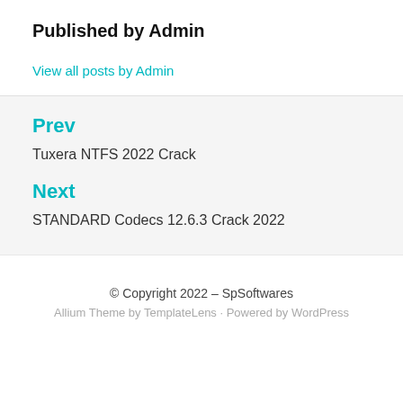Published by Admin
View all posts by Admin
Prev
Tuxera NTFS 2022 Crack
Next
STANDARD Codecs 12.6.3 Crack 2022
© Copyright 2022 – SpSoftwares
Allium Theme by TemplateLens · Powered by WordPress